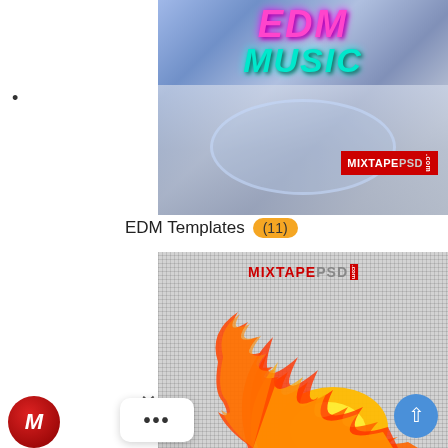[Figure (photo): EDM Music mixtape cover art showing colorful neon text EDM MUSIC on an astronaut/space background, with MIXTAPEPSD.com badge]
EDM Templates (11)
[Figure (photo): Fire explosion graphic on checkered transparent background with MIXTAPEPSD.com logo at top]
[Figure (other): UI overlay with close X button, avatar circle with M logo, more options (...) button, and scroll-to-top arrow button]